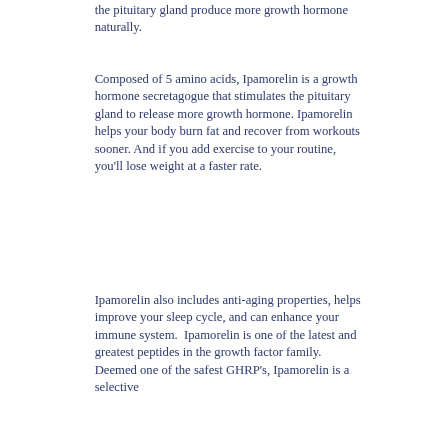the pituitary gland produce more growth hormone naturally.
Composed of 5 amino acids, Ipamorelin is a growth hormone secretagogue that stimulates the pituitary gland to release more growth hormone. Ipamorelin helps your body burn fat and recover from workouts sooner. And if you add exercise to your routine, you'll lose weight at a faster rate.
Ipamorelin also includes anti-aging properties, helps improve your sleep cycle, and can enhance your immune system.  Ipamorelin is one of the latest and greatest peptides in the growth factor family. Deemed one of the safest GHRP's, Ipamorelin is a selective